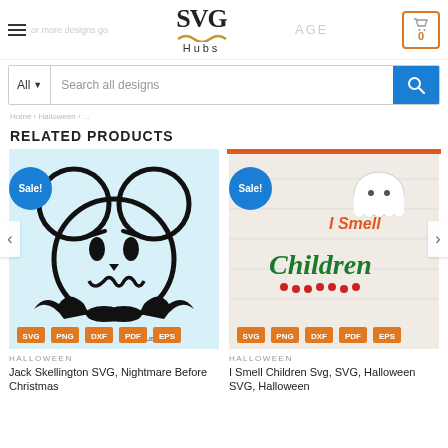SVG Hubs — Navigation header with logo, search bar, and cart
RELATED PRODUCTS
[Figure (photo): Product card image for Jack Skellington SVG on light blue background with Mickey Mouse ears silhouette and bat, showing SVG PNG DXF PDF EPS format badges with Sale! badge]
HALLOWEEN
Jack Skellington SVG, Nightmare Before Christmas
[Figure (photo): Product card image for I Smell Children SVG on wood background with ghost illustration and text in green and orange with Sale! badge and SVG PNG DXF PDF EPS format badges]
HALLOWEEN
I Smell Children Svg, SVG, Halloween SVG, Halloween